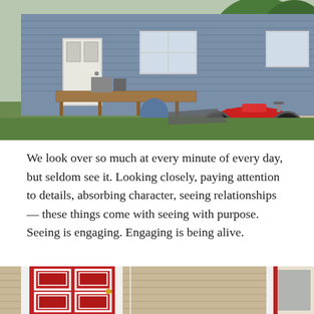[Figure (photo): A small blue house with white door and windows, a wooden deck with miscellaneous items, and a red motorcycle parked on the grass to the right. Green trees visible in background.]
We look over so much at every minute of every day, but seldom see it. Looking closely, paying attention to details, absorbing character, seeing relationships — these things come with seeing with purpose. Seeing is engaging. Engaging is being alive.
[Figure (photo): Close-up of a red door with white trim panels on a house with beige siding, partially visible.]